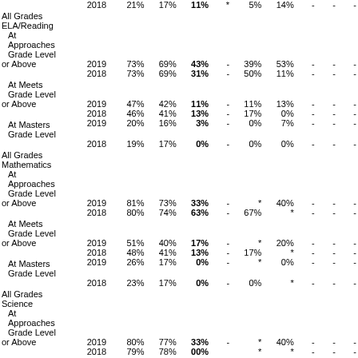| Category | Year | State | District | Campus |  | EconDis | SpEd |  |  |  |
| --- | --- | --- | --- | --- | --- | --- | --- | --- | --- | --- |
|  | 2018 | 21% | 17% | 11% | * | 5% | 14% | - | - | - |
| All Grades ELA/Reading At Approaches Grade Level or Above | 2019 | 73% | 69% | 43% | - | 39% | 53% | - | - | - |
|  | 2018 | 73% | 69% | 31% | - | 50% | 11% | - | - | - |
| At Meets Grade Level or Above | 2019 | 47% | 42% | 11% | - | 11% | 13% | - | - | - |
|  | 2018 | 46% | 41% | 13% | - | 17% | 0% | - | - | - |
| At Masters Grade Level | 2019 | 20% | 16% | 3% | - | 0% | 7% | - | - | - |
|  | 2018 | 19% | 17% | 0% | - | 0% | 0% | - | - | - |
| All Grades Mathematics At Approaches Grade Level or Above | 2019 | 81% | 73% | 33% | - | * | 40% | - | - | - |
|  | 2018 | 80% | 74% | 63% | - | 67% | * | - | - | - |
| At Meets Grade Level or Above | 2019 | 51% | 40% | 17% | - | * | 20% | - | - | - |
|  | 2018 | 48% | 41% | 13% | - | 17% | * | - | - | - |
| At Masters Grade Level | 2019 | 26% | 17% | 0% | - | * | 0% | - | - | - |
|  | 2018 | 23% | 17% | 0% | - | 0% | * | - | - | - |
| All Grades Science At Approaches Grade Level or Above | 2019 | 80% | 77% | 33% | - | * | 40% | - | - | - |
|  | 2018 | 79% | 78% | 00% |  | * | * | - | - | - |